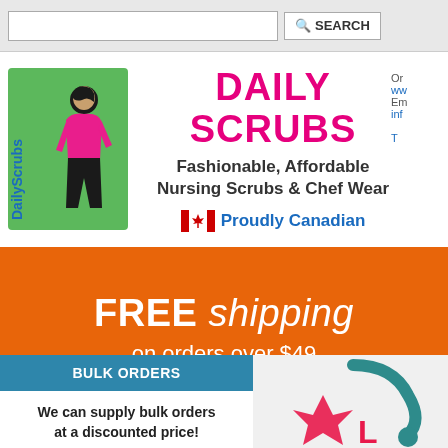[Figure (screenshot): Search bar with text input and search button]
[Figure (logo): Daily Scrubs logo - woman in pink scrubs silhouette with blue DailyScrubs text on green background]
DAILY SCRUBS
Fashionable, Affordable Nursing Scrubs & Chef Wear
🍁 Proudly Canadian
FREE shipping on orders over $49
We ship all orders out of our Missis
BULK ORDERS
We can supply bulk orders at a discounted price!
Call us at 905-813-8899